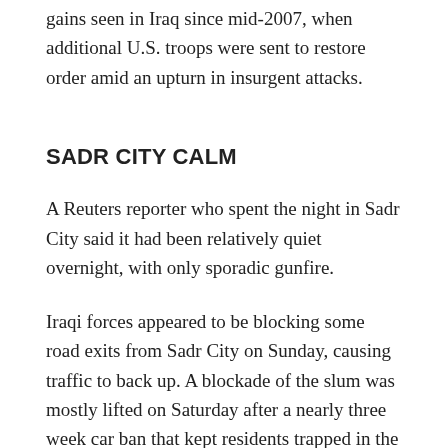gains seen in Iraq since mid-2007, when additional U.S. troops were sent to restore order amid an upturn in insurgent attacks.
SADR CITY CALM
A Reuters reporter who spent the night in Sadr City said it had been relatively quiet overnight, with only sporadic gunfire.
Iraqi forces appeared to be blocking some road exits from Sadr City on Sunday, causing traffic to back up. A blockade of the slum was mostly lifted on Saturday after a nearly three week car ban that kept residents trapped in the battle zone.